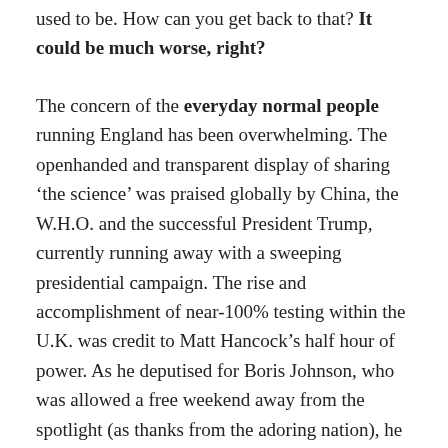used to be. How can you get back to that? It could be much worse, right?
The concern of the everyday normal people running England has been overwhelming. The openhanded and transparent display of sharing ‘the science’ was praised globally by China, the W.H.O. and the successful President Trump, currently running away with a sweeping presidential campaign. The rise and accomplishment of near-100% testing within the U.K. was credit to Matt Hancock’s half hour of power. As he deputised for Boris Johnson, who was allowed a free weekend away from the spotlight (as thanks from the adoring nation), he practically rebuilt Public Health England so well that Wales, Scotland and little Northern Ireland came begging for the recipe. Even the Isle of Man came knocking. It has been so refreshing to see the love and admiration of down-on-their-luck types on their rags to